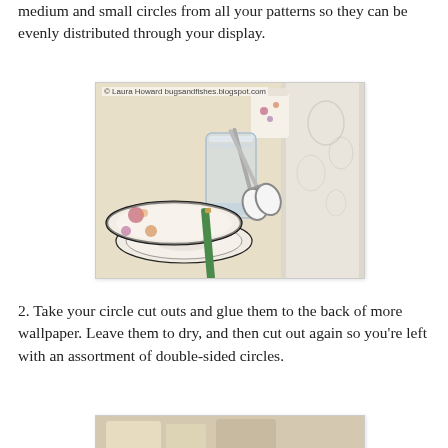medium and small circles from all your patterns so they can be evenly distributed through your display.
[Figure (photo): Photo of craft supplies on a table: a floral plate and saucer, a glass tumbler, a green pencil/pen, white scissors, and a roll of wallpaper. Watermark: © Laura Howard bugsandfishes.blogspot.com]
2. Take your circle cut outs and glue them to the back of more wallpaper. Leave them to dry, and then cut out again so you're left with an assortment of double-sided circles.
[Figure (photo): Partial photo of wallpaper circles craft items, cut off at bottom of page.]